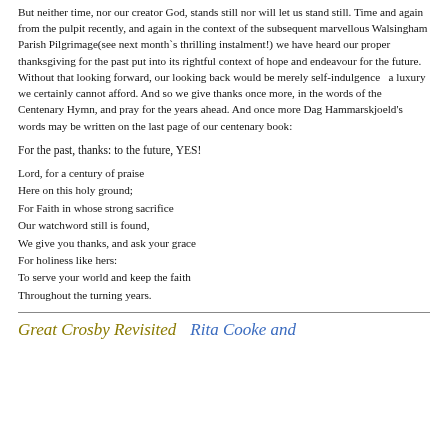But neither time, nor our creator God, stands still nor will let us stand still. Time and again from the pulpit recently, and again in the context of the subsequent marvellous Walsingham Parish Pilgrimage(see next month`s thrilling instalment!) we have heard our proper thanksgiving for the past put into its rightful context of hope and endeavour for the future. Without that looking forward, our looking back would be merely self-indulgence  a luxury we certainly cannot afford. And so we give thanks once more, in the words of the Centenary Hymn, and pray for the years ahead. And once more Dag Hammarskjoeld's words may be written on the last page of our centenary book:
For the past, thanks: to the future, YES!
Lord, for a century of praise
Here on this holy ground;
For Faith in whose strong sacrifice
Our watchword still is found,
We give you thanks, and ask your grace
For holiness like hers:
To serve your world and keep the faith
Throughout the turning years.
Great Crosby Revisited    Rita Cooke and